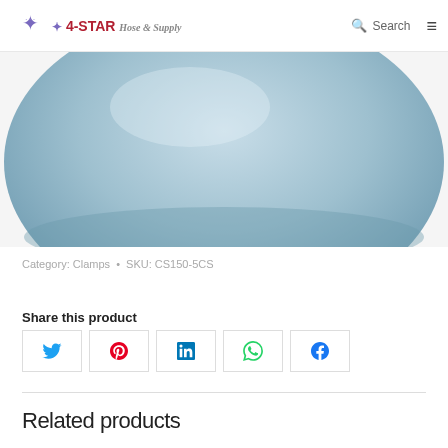4-STAR Hose & Supply — Search
[Figure (photo): Close-up product photo of a light blue/grey rounded item (possibly a clamp or cap), showing the top hemispherical surface against a white background.]
Category: Clamps • SKU: CS150-5CS
Share this product
Social share buttons: Twitter, Pinterest, LinkedIn, WhatsApp, Facebook
Related products